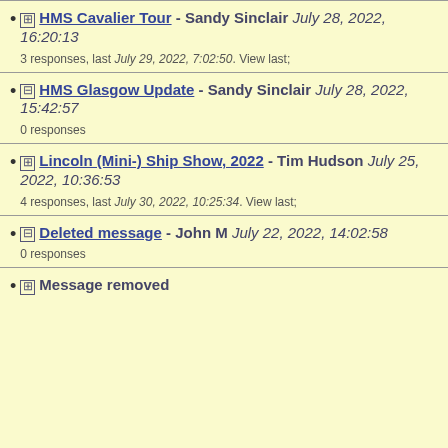HMS Cavalier Tour - Sandy Sinclair July 28, 2022, 16:20:13
3 responses, last July 29, 2022, 7:02:50. View last;
HMS Glasgow Update - Sandy Sinclair July 28, 2022, 15:42:57
0 responses
Lincoln (Mini-) Ship Show, 2022 - Tim Hudson July 25, 2022, 10:36:53
4 responses, last July 30, 2022, 10:25:34. View last;
Deleted message - John M July 22, 2022, 14:02:58
0 responses
Message removed